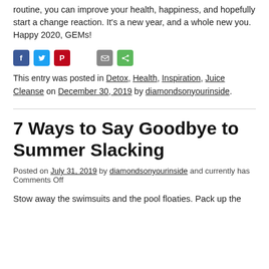routine, you can improve your health, happiness, and hopefully start a change reaction. It's a new year, and a whole new you. Happy 2020, GEMs!
[Figure (other): Social media sharing icons: Facebook (blue), Twitter (blue), Pinterest (red), email (grey), share (green)]
This entry was posted in Detox, Health, Inspiration, Juice Cleanse on December 30, 2019 by diamondsonyourinside.
7 Ways to Say Goodbye to Summer Slacking
Posted on July 31, 2019 by diamondsonyourinside and currently has Comments Off
Stow away the swimsuits and the pool floaties. Pack up the